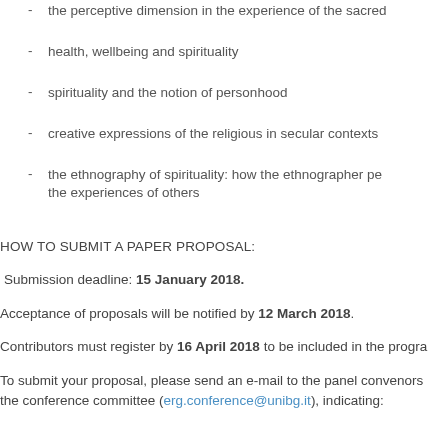- the perceptive dimension in the experience of the sacred
- health, wellbeing and spirituality
- spirituality and the notion of personhood
- creative expressions of the religious in secular contexts
- the ethnography of spirituality: how the ethnographer pe... the experiences of others
HOW TO SUBMIT A PAPER PROPOSAL:
Submission deadline: 15 January 2018.
Acceptance of proposals will be notified by 12 March 2018.
Contributors must register by 16 April 2018 to be included in the progra...
To submit your proposal, please send an e-mail to the panel convenors... the conference committee (erg.conference@unibg.it), indicating: